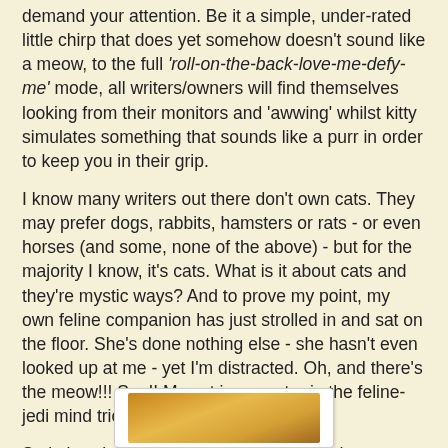demand your attention.  Be it a simple, under-rated little chirp that does yet somehow doesn't sound like a meow, to the full 'roll-on-the-back-love-me-defy-me' mode, all writers/owners will find themselves looking from their monitors and 'awwing' whilst kitty simulates something that sounds like a purr in order to keep you in their grip.
I know many writers out there don't own cats.  They may prefer dogs, rabbits, hamsters or rats - or even horses (and some, none of the above) - but for the majority I know, it's cats.  What is it about cats and they're mystic ways?  And to prove my point, my own feline companion has just strolled in and sat on the floor.  She's done nothing else - she hasn't even looked up at me - yet I'm distracted.  Oh, and there's the meow!!! See!!  My cat is a master in the feline-jedi mind tricks.  But I digress...
So let's celebrate of all those feline writerly companions.  Here's a few piccies of mine :)
[Figure (photo): A photo of a cat, showing orange/golden fur, partially visible at the bottom of the page]